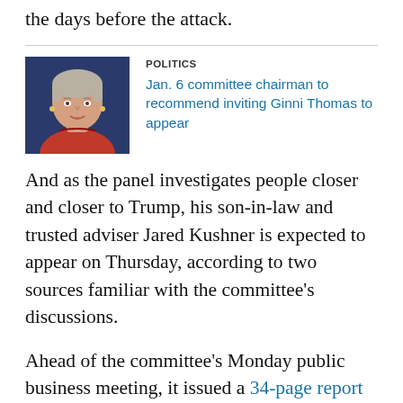the days before the attack.
[Figure (photo): Headshot photo of a woman with short light hair, wearing a red jacket, speaking at an event with a dark blue background.]
POLITICS
Jan. 6 committee chairman to recommend inviting Ginni Thomas to appear
And as the panel investigates people closer and closer to Trump, his son-in-law and trusted adviser Jared Kushner is expected to appear on Thursday, according to two sources familiar with the committee's discussions.
Ahead of the committee's Monday public business meeting, it issued a 34-page report and two dozen exhibits documenting exchanges with Navarro and Scavino.
It showed multiple failed attempts to draw their cooperation,